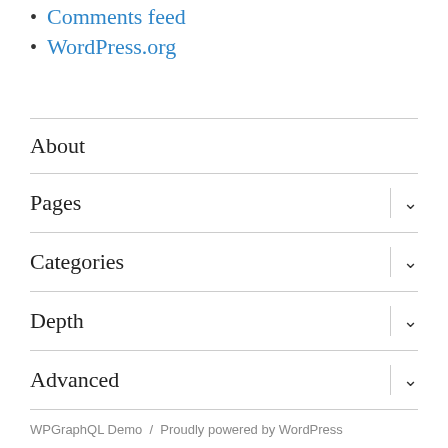Comments feed
WordPress.org
About
Pages
Categories
Depth
Advanced
WPGraphQL Demo / Proudly powered by WordPress